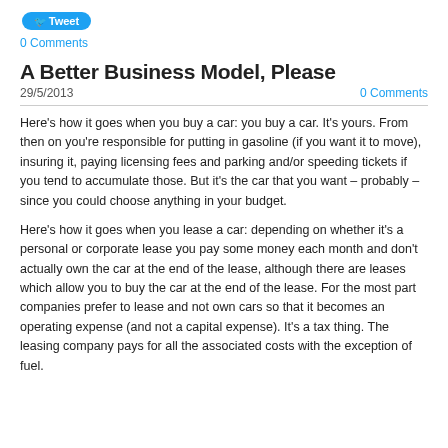Tweet
0 Comments
A Better Business Model, Please
29/5/2013    0 Comments
Here's how it goes when you buy a car: you buy a car. It's yours. From then on you're responsible for putting in gasoline (if you want it to move), insuring it, paying licensing fees and parking and/or speeding tickets if you tend to accumulate those. But it's the car that you want – probably – since you could choose anything in your budget.
Here's how it goes when you lease a car: depending on whether it's a personal or corporate lease you pay some money each month and don't actually own the car at the end of the lease, although there are leases which allow you to buy the car at the end of the lease. For the most part companies prefer to lease and not own cars so that it becomes an operating expense (and not a capital expense). It's a tax thing. The leasing company pays for all the associated costs with the exception of fuel.